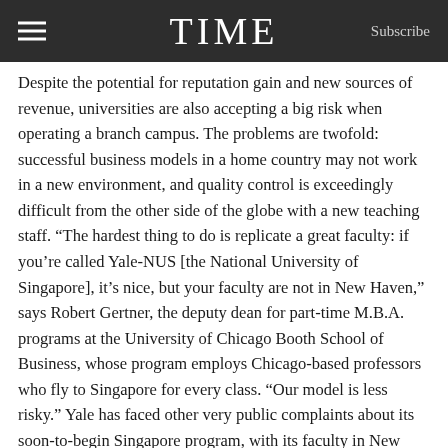TIME  Subscribe
Despite the potential for reputation gain and new sources of revenue, universities are also accepting a big risk when operating a branch campus. The problems are twofold: successful business models in a home country may not work in a new environment, and quality control is exceedingly difficult from the other side of the globe with a new teaching staff. “The hardest thing to do is replicate a great faculty: if you’re called Yale-NUS [the National University of Singapore], it’s nice, but your faculty are not in New Haven,” says Robert Gertner, the deputy dean for part-time M.B.A. programs at the University of Chicago Booth School of Business, whose program employs Chicago-based professors who fly to Singapore for every class. “Our model is less risky.” Yale has faced other very public complaints about its soon-to-begin Singapore program, with its faculty in New Haven, Conn., expressing worries about academic freedom and a Wall Street Journal article reporting about restrictions on political expression.